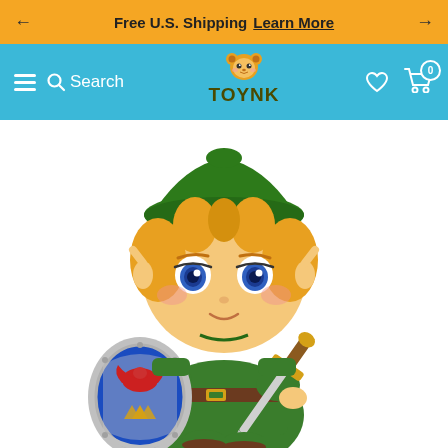← Free U.S. Shipping  Learn More →
[Figure (screenshot): TOYNK online store navigation bar with hamburger menu, search, TOYNK logo (squirrel mascot), heart/wishlist icon, and cart icon with badge showing 0]
[Figure (photo): Nendoroid Link figure from The Legend of Zelda: A Link Between Worlds, showing chibi-style Link with green tunic and hat, blonde hair, blue eyes, holding the Hylian Shield and Master Sword]